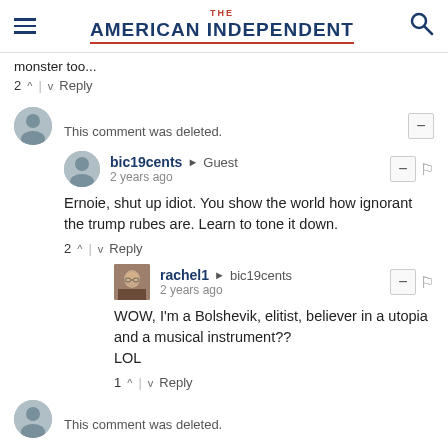THE AMERICAN INDEPENDENT
monster too...
2 ^ | v Reply
This comment was deleted.
bic19cents → Guest
2 years ago
Ernoie, shut up idiot. You show the world how ignorant the trump rubes are. Learn to tone it down.
2 ^ | v Reply
rachel1 → bic19cents
2 years ago
WOW, I'm a Bolshevik, elitist, believer in a utopia and a musical instrument??
LOL
1 ^ | v Reply
This comment was deleted.